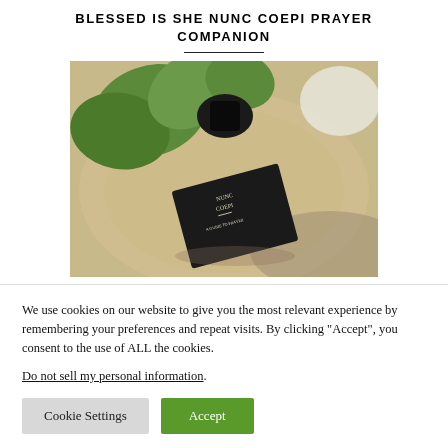BLESSED IS SHE NUNC COEPI PRAYER COMPANION
[Figure (photo): A black Nunc Coepi prayer journal/book resting on a round wooden table with a green plant in the background, viewed from above.]
We use cookies on our website to give you the most relevant experience by remembering your preferences and repeat visits. By clicking “Accept”, you consent to the use of ALL the cookies.
Do not sell my personal information.